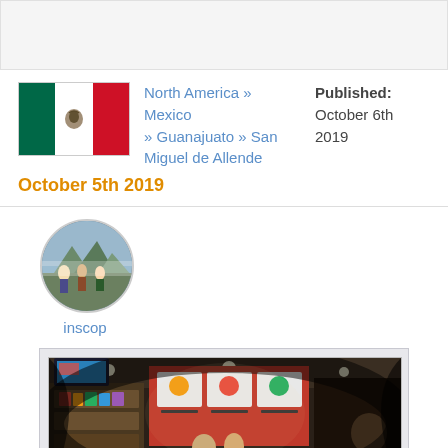[Figure (other): Top banner placeholder grey area]
[Figure (other): Mexican flag icon]
North America » Mexico » Guanajuato » San Miguel de Allende
Published: October 6th 2019
October 5th 2019
[Figure (photo): Circular avatar photo of user inscop showing people at a mountain viewpoint]
inscop
[Figure (photo): 360-degree fisheye photo of a food court restaurant stall with red menu boards, food displays and customers]